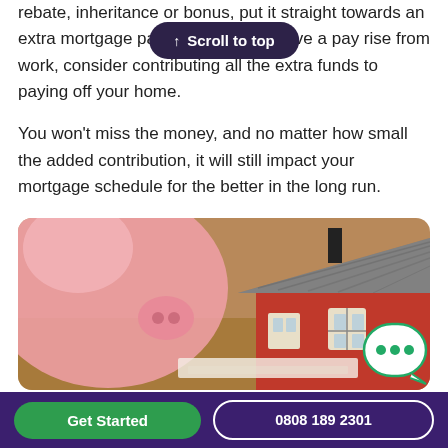rebate, inheritance or bonus, put it straight towards an extra mortgage payment. If you receive a pay rise from work, consider contributing all the extra funds to paying off your home.
You won't miss the money, and no matter how small the added contribution, it will still impact your mortgage schedule for the better in the long run.
[Figure (photo): Photo of a small red and white model house with a grey roof in the foreground, with a pink piggy bank blurred in the background, on a wooden surface with papers.]
Remortgage your property
Get Started  0808 189 2301